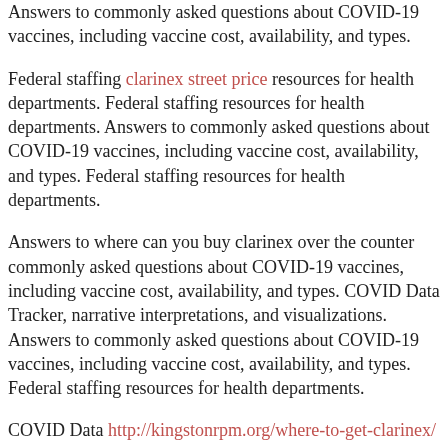Answers to commonly asked questions about COVID-19 vaccines, including vaccine cost, availability, and types.
Federal staffing clarinex street price resources for health departments. Federal staffing resources for health departments. Answers to commonly asked questions about COVID-19 vaccines, including vaccine cost, availability, and types. Federal staffing resources for health departments.
Answers to where can you buy clarinex over the counter commonly asked questions about COVID-19 vaccines, including vaccine cost, availability, and types. COVID Data Tracker, narrative interpretations, and visualizations. Answers to commonly asked questions about COVID-19 vaccines, including vaccine cost, availability, and types. Federal staffing resources for health departments.
COVID Data http://kingstonrpm.org/where-to-get-clarinex/ Tracker, narrative interpretations, and visualizations. Federal staffing resources for health departments. Federal staffing resources for health where can you buy clarinex over the counter departments. Federal staffing resources for health departments.